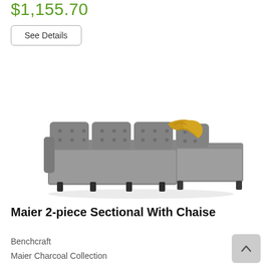$1,155.70
See Details
[Figure (photo): Maier 2-piece sectional sofa with chaise in charcoal gray upholstery with tufted back cushions and a yellow/gold throw blanket draped over the chaise end.]
Maier 2-piece Sectional With Chaise
Benchcraft
Maier Charcoal Collection